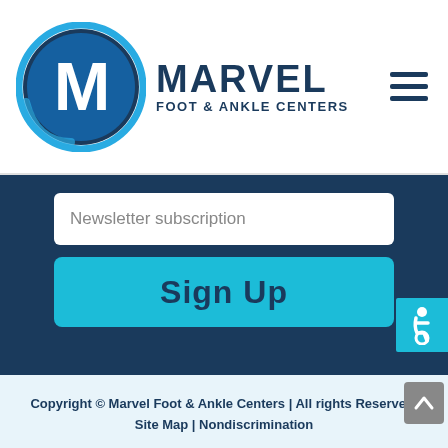[Figure (logo): Marvel Foot & Ankle Centers logo with circular M emblem in blue and teal gradient, and hamburger menu icon on right]
Newsletter subscription
Sign Up
[Figure (other): Wheelchair accessibility icon in teal/cyan button on right side]
Copyright © Marvel Foot & Ankle Centers | All rights reserved.
Site Map | Nondiscrimination